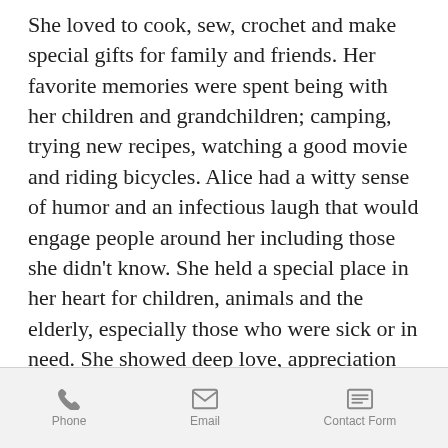She loved to cook, sew, crochet and make special gifts for family and friends. Her favorite memories were spent being with her children and grandchildren; camping, trying new recipes, watching a good movie and riding bicycles. Alice had a witty sense of humor and an infectious laugh that would engage people around her including those she didn't know. She held a special place in her heart for children, animals and the elderly, especially those who were sick or in need. She showed deep love, appreciation and respect for nature and all of God's creation.
In addition to her husband, Joe, she is
Phone  Email  Contact Form